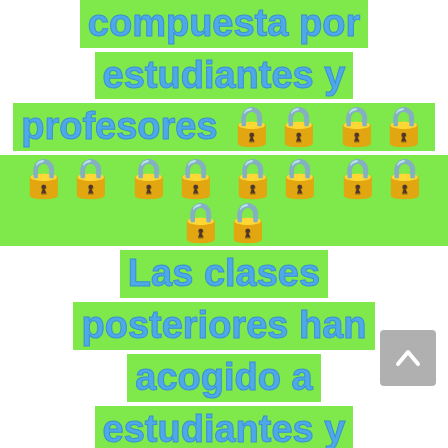compuesta por estudiantes y profesores 🔒 🔒 🔒 🔒 🔒 🔒 🔒 Las clases posteriores han acogido a estudiantes y profesores de diferentes nacionalidades a